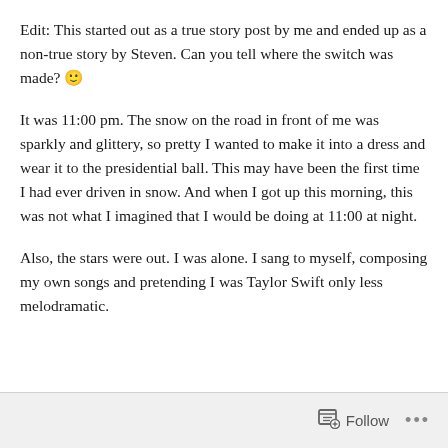Edit: This started out as a true story post by me and ended up as a non-true story by Steven. Can you tell where the switch was made? 🙂
It was 11:00 pm. The snow on the road in front of me was sparkly and glittery, so pretty I wanted to make it into a dress and wear it to the presidential ball. This may have been the first time I had ever driven in snow. And when I got up this morning, this was not what I imagined that I would be doing at 11:00 at night.
Also, the stars were out. I was alone. I sang to myself, composing my own songs and pretending I was Taylor Swift only less melodramatic.
Follow ···